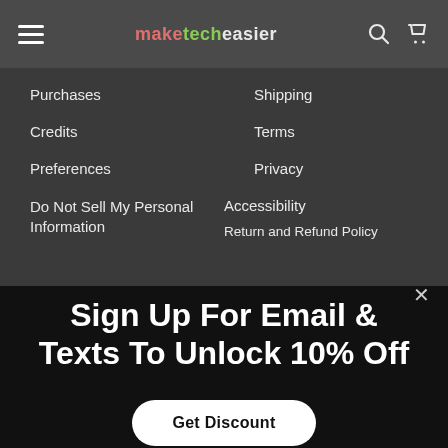maketecheasier
Purchases
Shipping
Credits
Terms
Preferences
Privacy
Do Not Sell My Personal Information
Accessibility
Return and Refund Policy
Are you a vendor?
Get exclusive access to the world's top products and tools with the Stack Commerce marketplace.
Learn More
Sign Up For Email & Texts To Unlock 10% Off
Get Discount
VIEW SIMILAR ITEMS